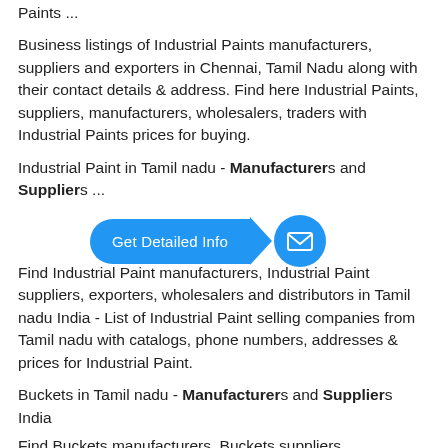Paints ...
Business listings of Industrial Paints manufacturers, suppliers and exporters in Chennai, Tamil Nadu along with their contact details & address. Find here Industrial Paints, suppliers, manufacturers, wholesalers, traders with Industrial Paints prices for buying.
Industrial Paint in Tamil nadu - Manufacturers and Suppliers ...
[Figure (other): Blue 'Get Detailed Info' button with arrow and mail icon overlay]
Find Industrial Paint manufacturers, Industrial Paint suppliers, exporters, wholesalers and distributors in Tamil nadu India - List of Industrial Paint selling companies from Tamil nadu with catalogs, phone numbers, addresses & prices for Industrial Paint.
Buckets in Tamil nadu - Manufacturers and Suppliers India
Find Buckets manufacturers, Buckets suppliers, ...